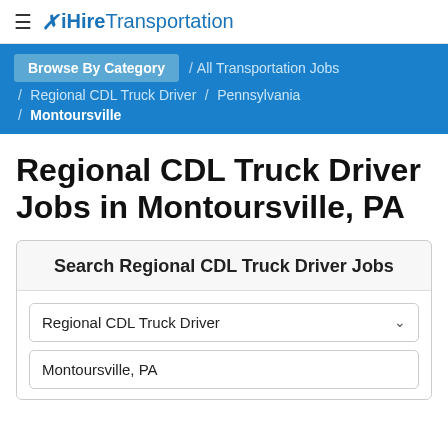≡ iHireTransportation
Browse By Category / All Transportation Jobs / Regional CDL Truck Driver / Pennsylvania / Montoursville
Regional CDL Truck Driver Jobs in Montoursville, PA
Search Regional CDL Truck Driver Jobs
Regional CDL Truck Driver
Montoursville, PA